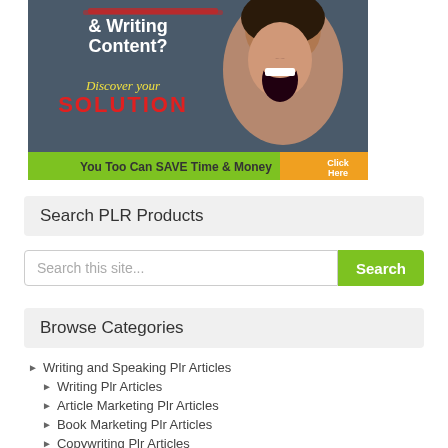[Figure (advertisement): Promotional banner ad with screaming woman, text '& Writing Content? Discover your SOLUTION You Too Can SAVE Time & Money Click Here']
Search PLR Products
Search this site...
Browse Categories
Writing and Speaking Plr Articles
Writing Plr Articles
Article Marketing Plr Articles
Book Marketing Plr Articles
Copywriting Plr Articles
Public Speaking Plr Articles